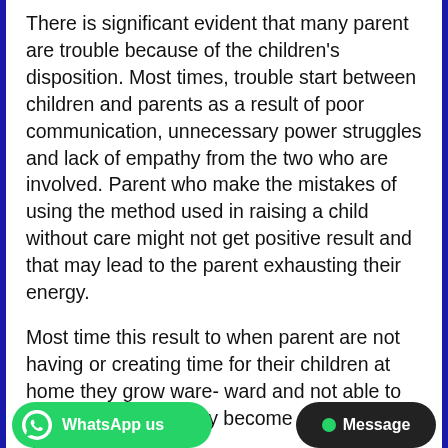There is significant evident that many parent are trouble because of the children's disposition. Most times, trouble start between children and parents as a result of poor communication, unnecessary power struggles and lack of empathy from the two who are involved. Parent who make the mistakes of using the method used in raising a child without care might not get positive result and that may lead to the parent exhausting their energy.
Most time this result to when parent are not having or creating time for their children at home they grow ware- ward and not able to be controlled and they become nuisance in  the family .
This also result to when parent are carefree, towards the children but believe they have their life to live to be over expose not having the mind of protecting them from the rudimen